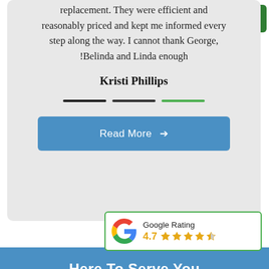replacement. They were efficient and reasonably priced and kept me informed every step along the way. I cannot thank George, !Belinda and Linda enough
Kristi Phillips
[Figure (other): Slider navigation indicators: three short horizontal lines — two dark/black and one green]
Read More →
[Figure (other): Green hamburger menu button in top-right corner with three white horizontal lines]
[Figure (other): Google Rating widget showing Google G logo, label 'Google Rating', score 4.7 with 4.5 orange stars]
Here To Serve You